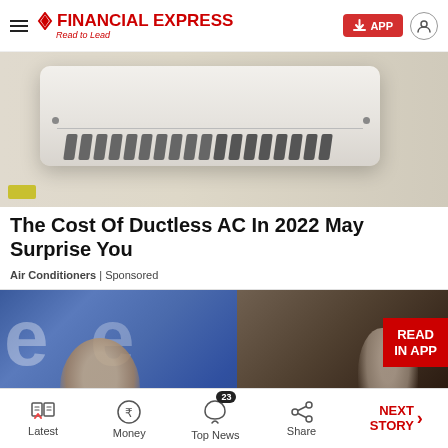FINANCIAL EXPRESS — Read to Lead
[Figure (photo): Close-up photo of a ductless mini-split air conditioning unit mounted on a wall, showing the white plastic housing and vent slats.]
The Cost Of Ductless AC In 2022 May Surprise You
Air Conditioners | Sponsored
[Figure (photo): Blurred news image showing two people side by side on a split background. A red 'READ IN APP' badge is shown in the top right corner of the image.]
Latest  Money  Top News (23)  Share  NEXT STORY →